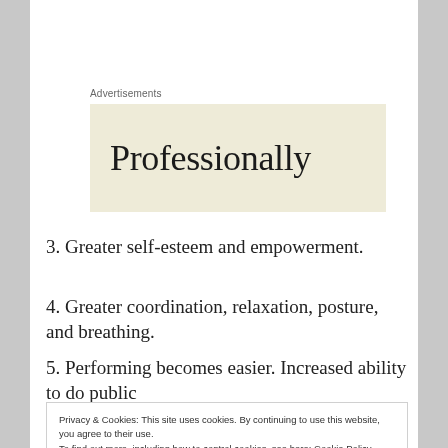Advertisements
[Figure (other): Advertisement banner with beige/cream background showing the word 'Professionally' in large serif font]
3. Greater self-esteem and empowerment.
4. Greater coordination, relaxation, posture, and breathing.
5. Performing becomes easier. Increased ability to do public
Privacy & Cookies: This site uses cookies. By continuing to use this website, you agree to their use. To find out more, including how to control cookies, see here: Cookie Policy